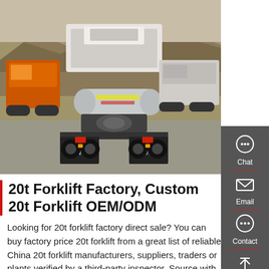[Figure (photo): Rear view of HOWO brand trucks parked in a large lot with mountains in the background. Several trucks visible including orange and white vehicles with HOWO branding on mud flaps.]
20t Forklift Factory, Custom 20t Forklift OEM/ODM
Looking for 20t forklift factory direct sale? You can buy factory price 20t forklift from a great list of reliable China 20t forklift manufacturers, suppliers, traders or plants verified by a third-party inspector. Source with confidence. -page2